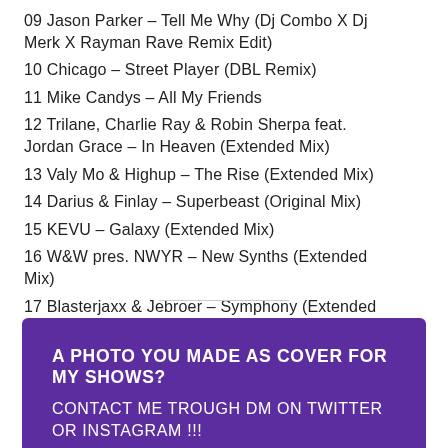09 Jason Parker – Tell Me Why (Dj Combo X Dj Merk X Rayman Rave Remix Edit)
10 Chicago – Street Player (DBL Remix)
11 Mike Candys – All My Friends
12 Trilane, Charlie Ray & Robin Sherpa feat. Jordan Grace – In Heaven (Extended Mix)
13 Valy Mo & Highup – The Rise (Extended Mix)
14 Darius & Finlay – Superbeast (Original Mix)
15 KEVU – Galaxy (Extended Mix)
16 W&W pres. NWYR – New Synths (Extended Mix)
17 Blasterjaxx & Jebroer – Symphony (Extended Mix)
18 Accee, Strong R. – Make Some Noise (Extended)
A PHOTO YOU MADE AS COVER FOR MY SHOWS? CONTACT ME TROUGH DM ON TWITTER OR INSTAGRAM !!!